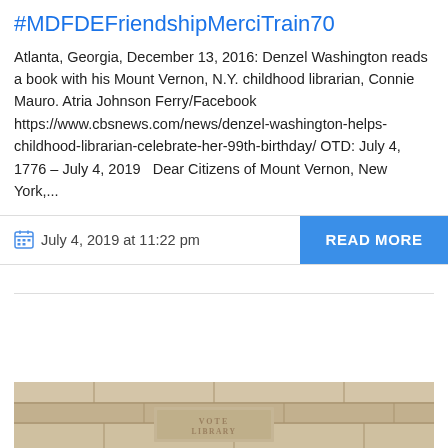#MDFDEFriendshipMerciTrain70
Atlanta, Georgia, December 13, 2016: Denzel Washington reads a book with his Mount Vernon, N.Y. childhood librarian, Connie Mauro. Atria Johnson Ferry/Facebook https://www.cbsnews.com/news/denzel-washington-helps-childhood-librarian-celebrate-her-99th-birthday/ OTD: July 4, 1776 – July 4, 2019   Dear Citizens of Mount Vernon, New York,...
July 4, 2019 at 11:22 pm
READ MORE
[Figure (photo): Photograph of stone building facade with carved text, presumably a library building in Mount Vernon, New York]